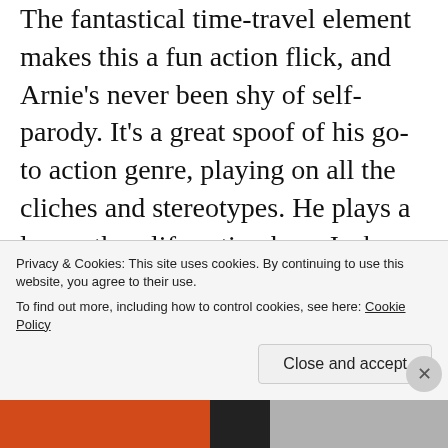The fantastical time-travel element makes this a fun action flick, and Arnie's never been shy of self-parody. It's a great spoof of his go-to action genre, playing on all the cliches and stereotypes. He plays a larger-than-life action hero Jack Slater, worshiped by a young boy who ends up being transported into Slater's world where the good guys always saves the day. John McTiernan of the Die Hard fame directed this and it has a similar absurd rock 'em, sock 'em sensibilities that please
Privacy & Cookies: This site uses cookies. By continuing to use this website, you agree to their use.
To find out more, including how to control cookies, see here: Cookie Policy
Close and accept